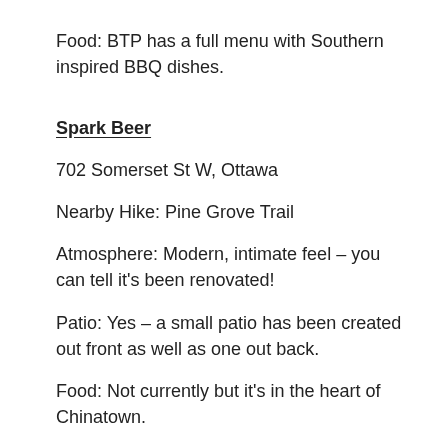Food: BTP has a full menu with Southern inspired BBQ dishes.
Spark Beer
702 Somerset St W, Ottawa
Nearby Hike: Pine Grove Trail
Atmosphere: Modern, intimate feel – you can tell it's been renovated!
Patio: Yes – a small patio has been created out front as well as one out back.
Food: Not currently but it's in the heart of Chinatown.